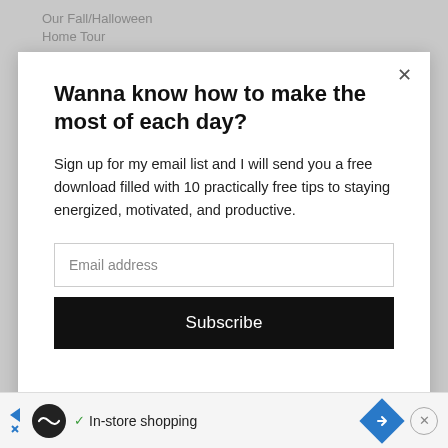Our Fall/Halloween
Home Tour
Wanna know how to make the most of each day?
Sign up for my email list and I will send you a free download filled with 10 practically free tips to staying energized, motivated, and productive.
Email address
Subscribe
In-store shopping